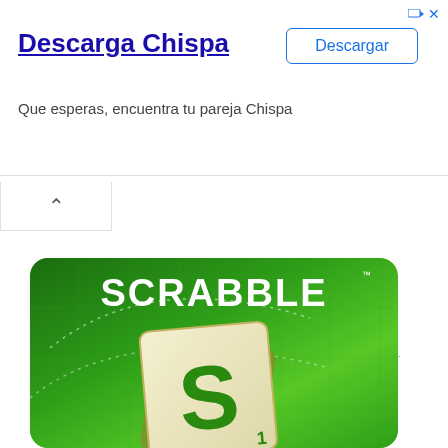Descarga Chispa
Que esperas, encuentra tu pareja Chispa
[Figure (screenshot): Advertisement banner with 'Descarga Chispa' title and 'Descargar' button]
[Figure (logo): Scrabble app icon showing green background with a Scrabble tile featuring the letter S and the word SCRABBLE in white text]